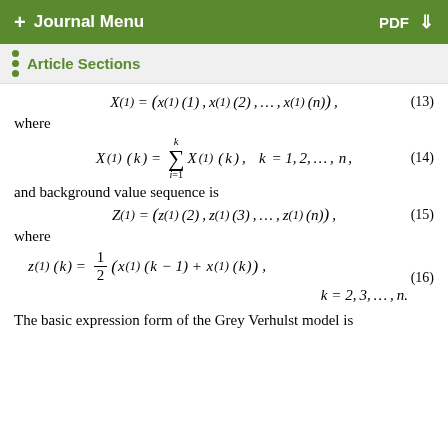+ Journal Menu   PDF ↓
Article Sections
where
and background value sequence is
where
The basic expression form of the Grey Verhulst model is